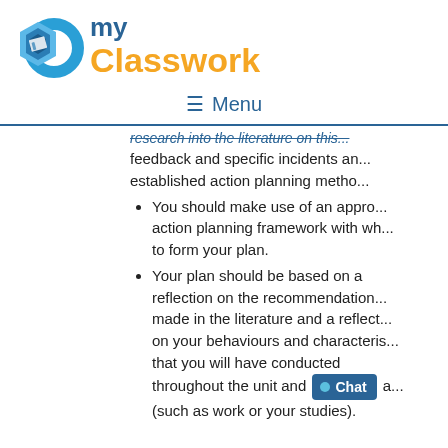[Figure (logo): Do my Classwork logo with blue 'DO' graphic and orange 'Classwork' text]
Menu
research into the literature on this... feedback and specific incidents and established action planning metho...
You should make use of an appro... action planning framework with wh... to form your plan.
Your plan should be based on a reflection on the recommendations made in the literature and a reflect... on your behaviours and characteris... that you will have conducted throughout the unit and [Chat] a... (such as work or your studies).